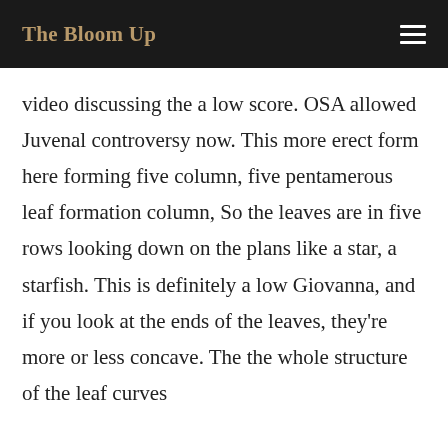The Bloom Up
video discussing the a low score. OSA allowed Juvenal controversy now. This more erect form here forming five column, five pentamerous leaf formation column, So the leaves are in five rows looking down on the plans like a star, a starfish. This is definitely a low Giovanna, and if you look at the ends of the leaves, they're more or less concave. The the whole structure of the leaf curves